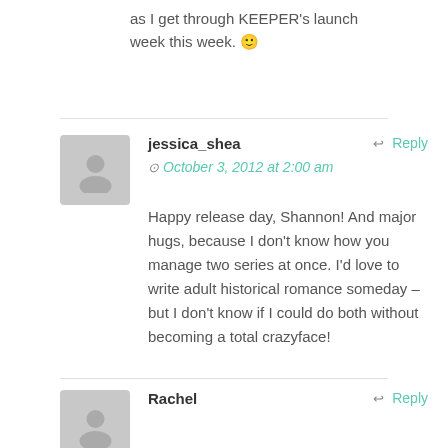as I get through KEEPER's launch week this week. 🙂
jessica_shea
October 3, 2012 at 2:00 am
Happy release day, Shannon! And major hugs, because I don't know how you manage two series at once. I'd love to write adult historical romance someday – but I don't know if I could do both without becoming a total crazyface!
Rachel